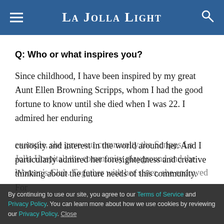La Jolla Light
Q: Who or what inspires you?
Since childhood, I have been inspired by my great Aunt Ellen Browning Scripps, whom I had the good fortune to know until she died when I was 22. I admired her enduring
curiosity and interest in the world around her. And I particularly admired her foresightedness and creative thinking about the future needs of this community. For example, she gave our community the Scripps La Jolla Hospital, the community playground and the Women's Club. Together with her sister, she endowed
By continuing to use our site, you agree to our Terms of Service and Privacy Policy. You can learn more about how we use cookies by reviewing our Privacy Policy. Close